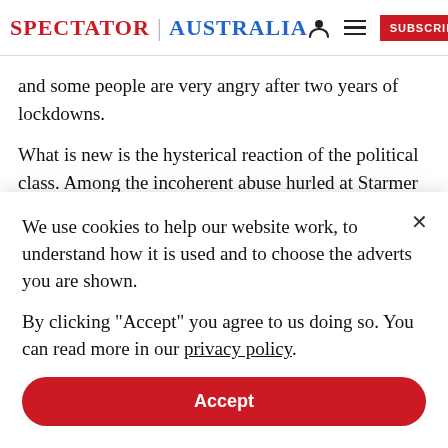SPECTATOR | AUSTRALIA
and some people are very angry after two years of lockdowns.
What is new is the hysterical reaction of the political class. Among the incoherent abuse hurled at Starmer ('traitor', 'arrest him', 'don't take the vaccine,' 'do you
We use cookies to help our website work, to understand how it is used and to choose the adverts you are shown.
By clicking "Accept" you agree to us doing so. You can read more in our privacy policy.